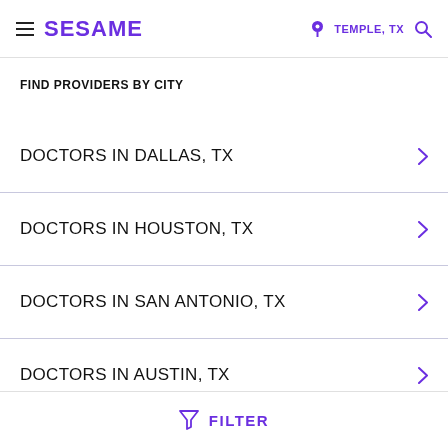SESAME | TEMPLE, TX
FIND PROVIDERS BY CITY
DOCTORS IN DALLAS, TX
DOCTORS IN HOUSTON, TX
DOCTORS IN SAN ANTONIO, TX
DOCTORS IN AUSTIN, TX
FILTER